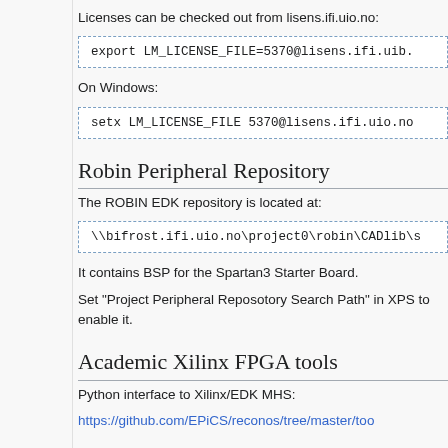Licenses can be checked out from lisens.ifi.uio.no:
export LM_LICENSE_FILE=5370@lisens.ifi.uib.
On Windows:
setx LM_LICENSE_FILE 5370@lisens.ifi.uio.no
Robin Peripheral Repository
The ROBIN EDK repository is located at:
\\bifrost.ifi.uio.no\project0\robin\CADlib\s
It contains BSP for the Spartan3 Starter Board.
Set "Project Peripheral Reposotory Search Path" in XPS to enable it.
Academic Xilinx FPGA tools
Python interface to Xilinx/EDK MHS:
https://github.com/EPiCS/reconos/tree/master/too